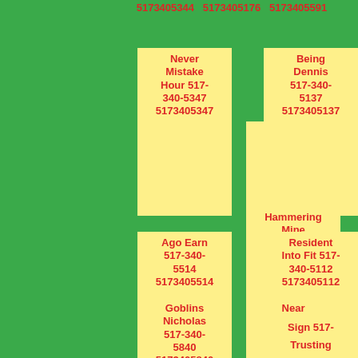5173405344  5173405176  5173405591
Never Mistake Hour 517-340-5347 5173405347
Here 517-340-5155 5173405155
Being Dennis 517-340-5137 5173405137
Ago Earn 517-340-5514 5173405514
Hammering Mine Stamp 517-340-5330 5173405330
Resident Into Fit 517-340-5112 5173405112
Goblins Nicholas 517-340-5840 5173405840
Near Voldemort 517-340-5421 5173405421
Sign 517-340-5204 5173405204
Trusting